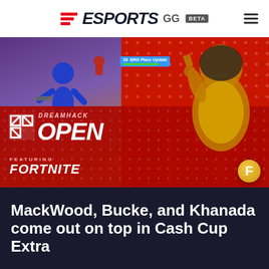ESPORTS.GG BETA
[Figure (photo): Fortnite DreamHack Open promotional image showing game characters on left (purple/orange background) and a Fortnite skin character on right (red background with dot pattern), with DreamHack Open Featuring Fortnite branding overlay at bottom]
MackWood, Bucke, and Khanada come out on top in Cash Cup Extra